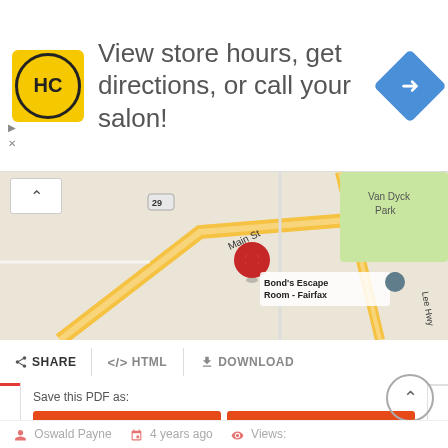[Figure (infographic): Advertisement banner with HC logo (yellow circle with HC text), text 'View store hours, get directions, or call your salon!' and a blue navigation diamond icon on the right. Small triangular ad markers on the left side.]
[Figure (map): Google Maps screenshot showing Fairfax area with Main St, Route 29, Van Dyck Park, and a red location pin. A label reads 'Bond's Escape Room - Fairfax' with a grey location pin nearby.]
< SHARE   </> HTML   ↓ DOWNLOAD
Save this PDF as:
↓ WORD
↓ PNG
↓ TXT
↓ JPG
Oswald Payne   4 years ago   Views: